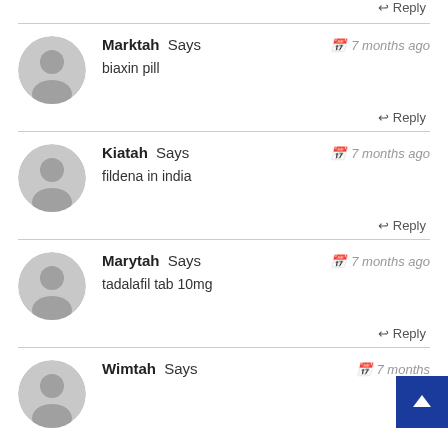Reply
Marktah Says — 7 months ago
biaxin pill
Reply
Kiatah Says — 7 months ago
fildena in india
Reply
Marytah Says — 7 months ago
tadalafil tab 10mg
Reply
Wimtah Says — 7 months ago